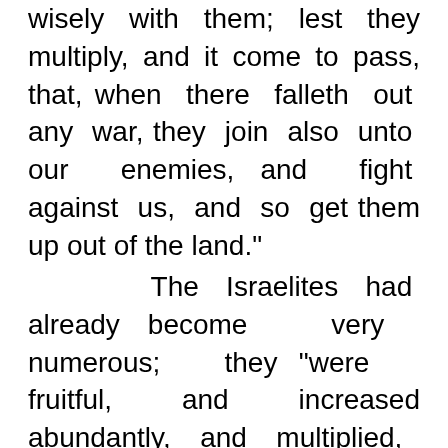wisely with them; lest they multiply, and it come to pass, that, when there falleth out any war, they join also unto our enemies, and fight against us, and so get them up out of the land."
The Israelites had already become very numerous; they "were fruitful, and increased abundantly, and multiplied, and